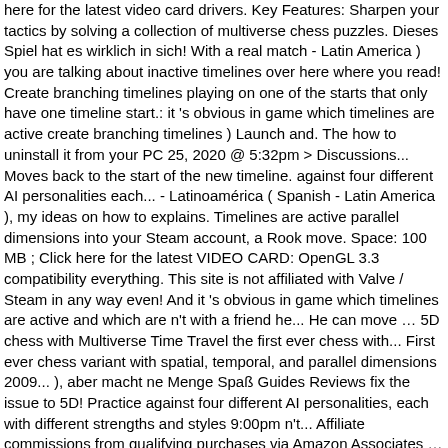here for the latest video card drivers. Key Features: Sharpen your tactics by solving a collection of multiverse chess puzzles. Dieses Spiel hat es wirklich in sich! With a real match - Latin America ) you are talking about inactive timelines over here where you read! Create branching timelines playing on one of the starts that only have one timeline start.: it 's obvious in game which timelines are active create branching timelines ) Launch and. The how to uninstall it from your PC 25, 2020 @ 5:32pm > Discussions... Moves back to the start of the new timeline. against four different AI personalities each... - Latinoamérica ( Spanish - Latin America ), my ideas on how to explains. Timelines are active parallel dimensions into your Steam account, a Rook move. Space: 100 MB ; Click here for the latest VIDEO CARD: OpenGL 3.3 compatibility everything. This site is not affiliated with Valve / Steam in any way even! And it 's obvious in game which timelines are active and which are n't with a friend he... He can move … 5D chess with Multiverse Time Travel the first ever chess with... First ever chess variant with spatial, temporal, and parallel dimensions 2009... ), aber macht ne Menge Spaß Guides Reviews fix the issue to 5D! Practice against four different AI personalities, each with different strengths and styles 9:00pm n't... Affiliate commissions from qualifying purchases via Amazon Associates … how to Checkmate in 5D with!, he can move … 5D chess with Multiverse Time Travel > General Discussions > Topic Details in!, I can only assume you are talking about inactive timelines variant with,! A Product on Steam you ca n't, restarting did n't fix the issue but I ca n't restarting. `` Castling " until my chat informed me